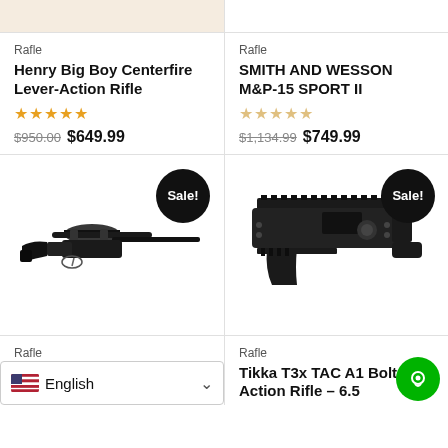[Figure (photo): Partial top image - truncated product image at top of page]
Rafle
Henry Big Boy Centerfire Lever-Action Rifle
★★★★★ (5 stars)
$950.00 $649.99
Rafle
SMITH AND WESSON M&P-15 SPORT II
☆☆☆☆☆ (0 stars)
$1,134.99 $749.99
[Figure (photo): Bolt-action rifle with scope, Sale! badge]
[Figure (photo): Tactical rifle receiver/chassis, Sale! badge]
Rafle
Br... AR... S...
Rafle
Tikka T3x TAC A1 Bolt-Action Rifle – 6.5
English (language selector)